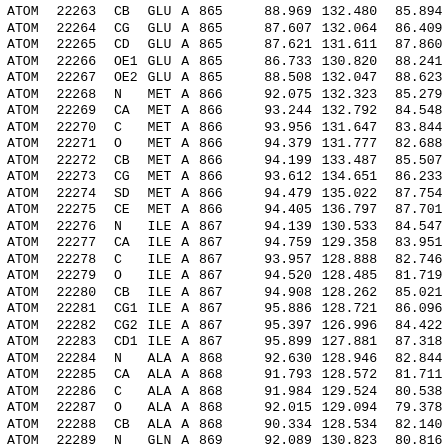| Record | Serial | Name | ResName | Chain | ResSeq | X | Y | Z |
| --- | --- | --- | --- | --- | --- | --- | --- | --- |
| ATOM | 22263 | CB | GLU | A | 865 | 88.969 | 132.480 | 85.894 |
| ATOM | 22264 | CG | GLU | A | 865 | 87.607 | 132.064 | 86.409 |
| ATOM | 22265 | CD | GLU | A | 865 | 87.621 | 131.611 | 87.860 |
| ATOM | 22266 | OE1 | GLU | A | 865 | 86.733 | 130.820 | 88.241 |
| ATOM | 22267 | OE2 | GLU | A | 865 | 88.508 | 132.047 | 88.623 |
| ATOM | 22268 | N | MET | A | 866 | 92.075 | 132.323 | 85.279 |
| ATOM | 22269 | CA | MET | A | 866 | 93.244 | 132.792 | 84.548 |
| ATOM | 22270 | C | MET | A | 866 | 93.956 | 131.647 | 83.844 |
| ATOM | 22271 | O | MET | A | 866 | 94.379 | 131.777 | 82.688 |
| ATOM | 22272 | CB | MET | A | 866 | 94.199 | 133.487 | 85.507 |
| ATOM | 22273 | CG | MET | A | 866 | 93.612 | 134.651 | 86.233 |
| ATOM | 22274 | SD | MET | A | 866 | 94.479 | 135.022 | 87.754 |
| ATOM | 22275 | CE | MET | A | 866 | 94.405 | 136.797 | 87.701 |
| ATOM | 22276 | N | ILE | A | 867 | 94.139 | 130.533 | 84.547 |
| ATOM | 22277 | CA | ILE | A | 867 | 94.759 | 129.358 | 83.951 |
| ATOM | 22278 | C | ILE | A | 867 | 93.957 | 128.888 | 82.746 |
| ATOM | 22279 | O | ILE | A | 867 | 94.520 | 128.485 | 81.719 |
| ATOM | 22280 | CB | ILE | A | 867 | 94.908 | 128.262 | 85.021 |
| ATOM | 22281 | CG1 | ILE | A | 867 | 95.886 | 128.721 | 86.096 |
| ATOM | 22282 | CG2 | ILE | A | 867 | 95.397 | 126.996 | 84.422 |
| ATOM | 22283 | CD1 | ILE | A | 867 | 95.899 | 127.881 | 87.318 |
| ATOM | 22284 | N | ALA | A | 868 | 92.630 | 128.946 | 82.844 |
| ATOM | 22285 | CA | ALA | A | 868 | 91.793 | 128.572 | 81.711 |
| ATOM | 22286 | C | ALA | A | 868 | 91.984 | 129.524 | 80.538 |
| ATOM | 22287 | O | ALA | A | 868 | 92.015 | 129.094 | 79.378 |
| ATOM | 22288 | CB | ALA | A | 868 | 90.334 | 128.534 | 82.140 |
| ATOM | 22289 | N | GLN | A | 869 | 92.089 | 130.823 | 80.816 |
| ATOM | 22290 | CA | GLN | A | 869 | 92.390 | 131.787 | 79.761 |
| ATOM | 22291 | C | GLN | A | 869 | 93.687 | 131.431 | 79.046 |
| ATOM | 22292 | O | GLN | A | 869 | 93.757 | 131.433 | 77.811 |